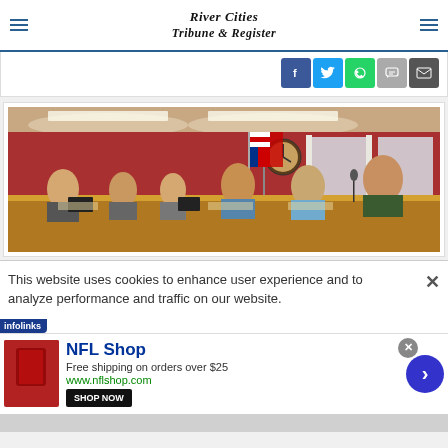River Cities Tribune & Register
[Figure (screenshot): Social media share buttons: Facebook, Twitter, WhatsApp, SMS, Email]
[Figure (photo): City council or government meeting room with red walls, officials seated at a wooden bench, flags visible]
This website uses cookies to enhance user experience and to analyze performance and traffic on our website.
[Figure (screenshot): Infolinks advertisement banner for NFL Shop: Free shipping on orders over $25, www.nflshop.com, with SHOP NOW button]